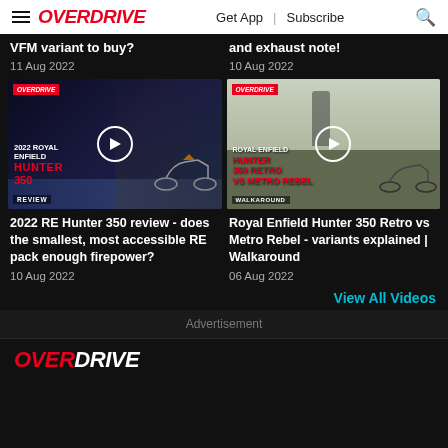OVERDRIVE | Get App | Subscribe
VFM variant to buy?
11 Aug 2022
and exhaust note!
10 Aug 2022
[Figure (screenshot): Video thumbnail for 2022 Royal Enfield Hunter 350 Review with OVERDRIVE logo and play button]
[Figure (screenshot): Video thumbnail for Royal Enfield Hunter 350 Retro vs Metro Rebel Walkaround with OVERDRIVE logo and play button]
2022 RE Hunter 350 review - does the smallest, most accessible RE pack enough firepower?
10 Aug 2022
Royal Enfield Hunter 350 Retro vs Metro Rebel - variants explained | Walkaround
06 Aug 2022
View All Videos
Advertisement
OVERDRIVE